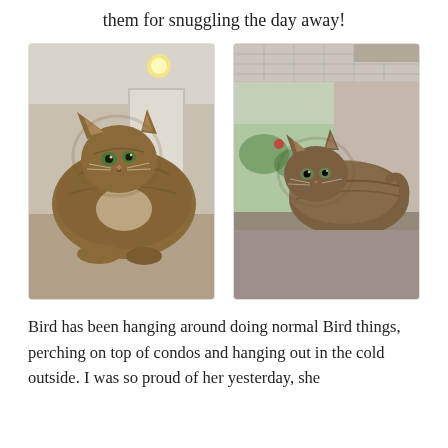them for snuggling the day away!
[Figure (photo): Long-haired tabby cat sitting on a carpeted surface inside a home, looking toward camera]
[Figure (photo): Long-haired tabby cat sitting on a shelf inside a cat enclosure or catio, with outdoor view behind it]
Bird has been hanging around doing normal Bird things, perching on top of condos and hanging out in the cold outside. I was so proud of her yesterday, she